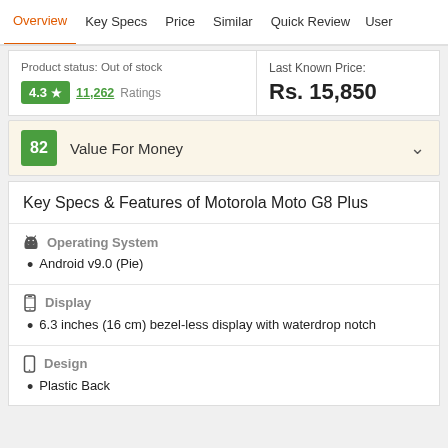Overview  Key Specs  Price  Similar  Quick Review  User
Product status: Out of stock
4.3 ★  11,262 Ratings
Last Known Price:
Rs. 15,850
82  Value For Money
Key Specs & Features of Motorola Moto G8 Plus
Operating System
Android v9.0 (Pie)
Display
6.3 inches (16 cm) bezel-less display with waterdrop notch
Design
Plastic Back